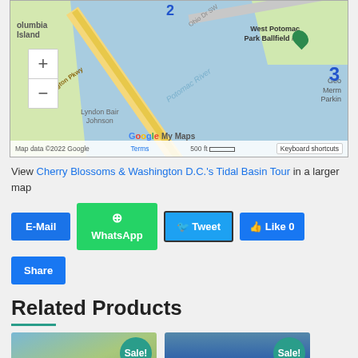[Figure (map): Google My Maps screenshot showing the Tidal Basin area in Washington D.C., including Columbia Island, Washington Parkway, Lyndon Bain Johnson, Potomac River, West Potomac Park Ballfield #2, and George Memorial Parking. Map data ©2022 Google with zoom controls and scale bar.]
View Cherry Blossoms & Washington D.C.'s Tidal Basin Tour in a larger map
E-Mail | WhatsApp | Tweet | Like 0 | Share
Related Products
[Figure (photo): Product photo 1 with Sale! badge]
[Figure (photo): Product photo 2 with Sale! badge]